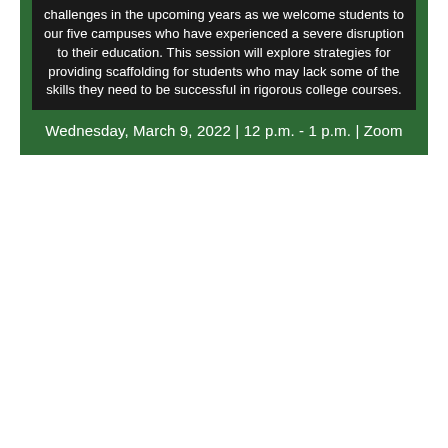challenges in the upcoming years as we welcome students to our five campuses who have experienced a severe disruption to their education. This session will explore strategies for providing scaffolding for students who may lack some of the skills they need to be successful in rigorous college courses.
Wednesday, March 9, 2022 | 12 p.m. - 1 p.m. | Zoom